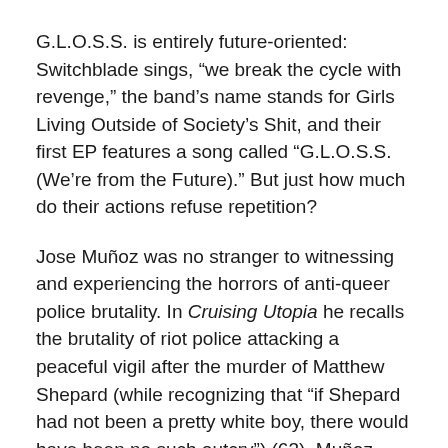G.L.O.S.S. is entirely future-oriented: Switchblade sings, “we break the cycle with revenge,” the band’s name stands for Girls Living Outside of Society’s Shit, and their first EP features a song called “G.L.O.S.S. (We’re from the Future).” But just how much do their actions refuse repetition?
Jose Muñoz was no stranger to witnessing and experiencing the horrors of anti-queer police brutality. In Cruising Utopia he recalls the brutality of riot police attacking a peaceful vigil after the murder of Matthew Shepard (while recognizing that “if Shepard had not been a pretty white boy, there would have been no such outcry”) (63). Muñoz fights against the violence of the “here and now,” the quagmire of political expediency, which is analogous to G.L.O.S.S.’ anger at the pragmatism of LGBT politics. Yet, in a very real way, violence at all costs